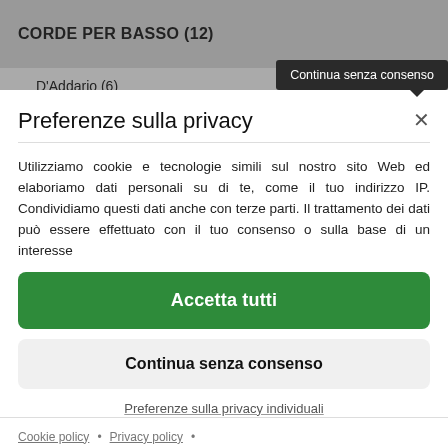CORDE PER BASSO (12)
D'Addario (6)
Continua senza consenso
Preferenze sulla privacy
Utilizziamo cookie e tecnologie simili sul nostro sito Web ed elaboriamo dati personali su di te, come il tuo indirizzo IP. Condividiamo questi dati anche con terze parti. Il trattamento dei dati può essere effettuato con il tuo consenso o sulla base di un interesse
Accetta tutti
Continua senza consenso
Preferenze sulla privacy individuali
Cookie policy • Privacy policy • Consent Management Platform by Real Cookie Banner